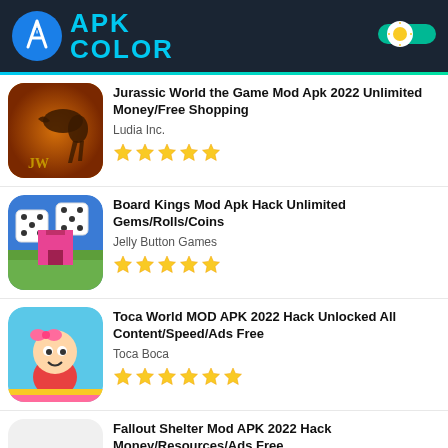APK COLOR
Jurassic World the Game Mod Apk 2022 Unlimited Money/Free Shopping
Ludia Inc.
★★★★★
Board Kings Mod Apk Hack Unlimited Gems/Rolls/Coins
Jelly Button Games
★★★★★
Toca World MOD APK 2022 Hack Unlocked All Content/Speed/Ads Free
Toca Boca
★★★★★
Fallout Shelter Mod APK 2022 Hack Money/Resources/Ads Free
Bethesda Softworks LLC
★★★★½